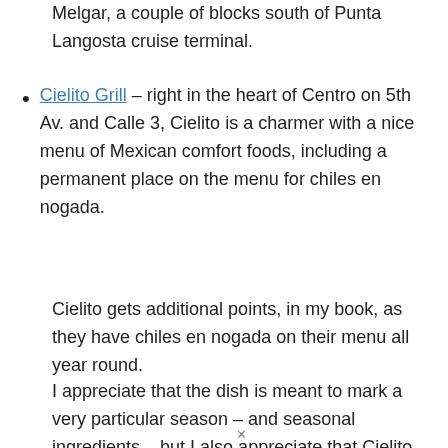Melgar, a couple of blocks south of Punta Langosta cruise terminal.
Cielito Grill – right in the heart of Centro on 5th Av. and Calle 3, Cielito is a charmer with a nice menu of Mexican comfort foods, including a permanent place on the menu for chiles en nogada.
Cielito gets additional points, in my book, as they have chiles en nogada on their menu all year round.
I appreciate that the dish is meant to mark a very particular season – and seasonal ingredients – but I also appreciate that Cielito Linda celebrates this cool foodie find whenever you're able to visit.  (And it was my first one ever!)  So I also hold this place, and this dish, dear